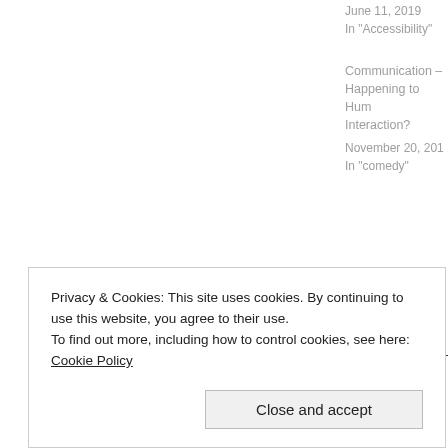June 11, 2019
In "Accessibility"
Communication – Happening to Human Interaction?
November 20, 201
In "comedy"
2 thoughts on "H Offended"
Privacy & Cookies: This site uses cookies. By continuing to use this website, you agree to their use.
To find out more, including how to control cookies, see here: Cookie Policy
Close and accept